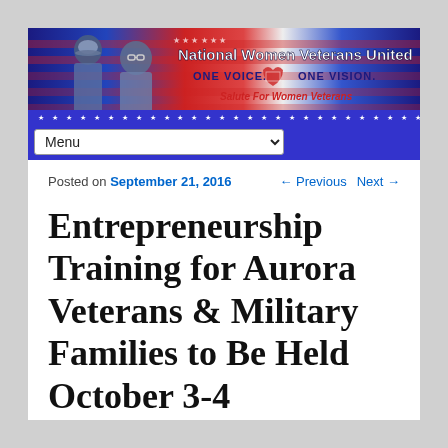[Figure (illustration): National Women Veterans United website banner with American flag background, two women veterans saluting, text 'National Women Veterans United', 'ONE VOICE. ONE VISION.', 'Salute For Women Veterans']
Menu
Posted on September 21, 2016   ← Previous   Next →
Entrepreneurship Training for Aurora Veterans & Military Families to Be Held October 3-4